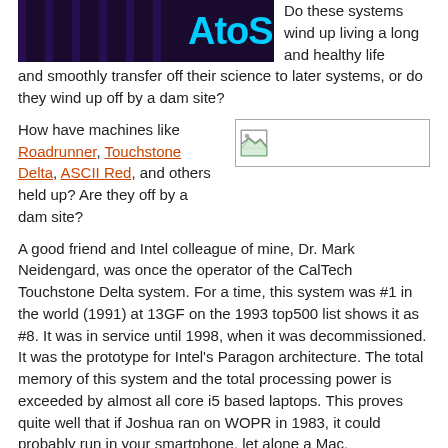[Figure (photo): Atos logo banner with dark purple/black striped background and cyan 'AtoS' text]
Do these systems wind up living a long and healthy life and smoothly transfer off their science to later systems, or do they wind up off by a dam site?
How have machines like Roadrunner, Touchstone Delta, ASCII Red, and others held up? Are they off by a dam site?
[Figure (photo): Small broken/placeholder image thumbnail]
A good friend and Intel colleague of mine, Dr. Mark Neidengard, was once the operator of the CalTech Touchstone Delta system. For a time, this system was #1 in the world (1991) at 13GF on the 1993 top500 list shows it as #8. It was in service until 1998, when it was decommissioned. It was the prototype for Intel's Paragon architecture. The total memory of this system and the total processing power is exceeded by almost all core i5 based laptops. This proves quite well that if Joshua ran on WOPR in 1983, it could probably run in your smartphone, let alone a Mac.